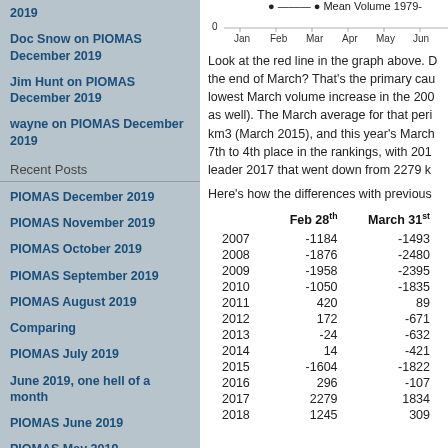2019
Doc Snow on PIOMAS December 2019
Jim Hunt on PIOMAS December 2019
wayne on PIOMAS December 2019
Recent Posts
PIOMAS December 2019
PIOMAS November 2019
PIOMAS October 2019
PIOMAS September 2019
PIOMAS August 2019
Comparing
PIOMAS July 2019
June 2019, one hell of a month
PIOMAS June 2019
PIOMAS May 2019
Archives
[Figure (line-chart): Partial line chart showing Mean Volume 1979-, with x-axis labels Jan Feb Mar Apr May Jun and y-axis starting at 0]
Look at the red line in the graph above. D the end of March? That's the primary cau lowest March volume increase in the 200 as well). The March average for that peri km3 (March 2015), and this year's March 7th to 4th place in the rankings, with 201 leader 2017 that went down from 2279 k
Here's how the differences with previous
|  | Feb 28th | March 31st |
| --- | --- | --- |
| 2007 | -1184 | -1493 |
| 2008 | -1876 | -2480 |
| 2009 | -1958 | -2395 |
| 2010 | -1050 | -1835 |
| 2011 | 420 | 89 |
| 2012 | 172 | -671 |
| 2013 | -24 | -632 |
| 2014 | 14 | -421 |
| 2015 | -1604 | -1822 |
| 2016 | 296 | -107 |
| 2017 | 2279 | 1834 |
| 2018 | 1245 | 309 |